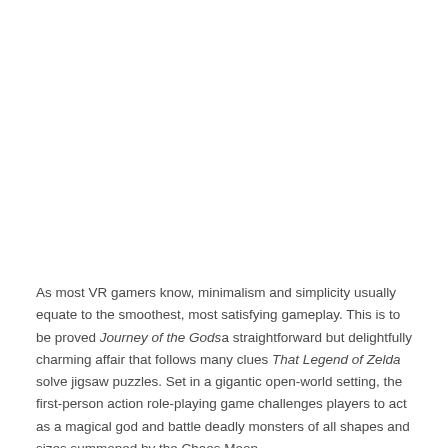As most VR gamers know, minimalism and simplicity usually equate to the smoothest, most satisfying gameplay. This is to be proved Journey of the Godsa straightforward but delightfully charming affair that follows many clues That Legend of Zelda solve jigsaw puzzles. Set in a gigantic open-world setting, the first-person action role-playing game challenges players to act as a magical god and battle deadly monsters of all shapes and sizes summoned by the Chaos Moon.